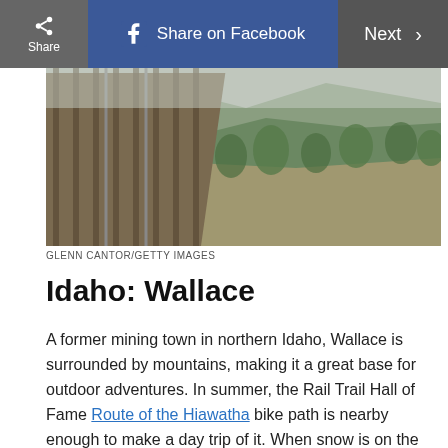Share on Facebook | Next >
[Figure (photo): Aerial view of a wooden railroad trestle bridge over a forested mountain hillside with evergreen trees and dry grass slope]
GLENN CANTOR/GETTY IMAGES
Idaho: Wallace
A former mining town in northern Idaho, Wallace is surrounded by mountains, making it a great base for outdoor adventures. In summer, the Rail Trail Hall of Fame Route of the Hiawatha bike path is nearby enough to make a day trip of it. When snow is on the ground, visitors enjoy the town's central location between the Silver Mountain and Lookout Pass ski resorts. The town celebrates music, western history, winter fun, and Idaho's